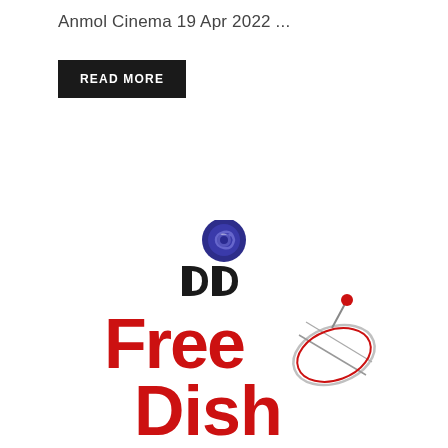Anmol Cinema 19 Apr 2022 ...
READ MORE
[Figure (logo): DD Free Dish logo with Doordarshan satellite dish brand mark in red and black text, featuring the DD Doordarshan spiral eye logo above]